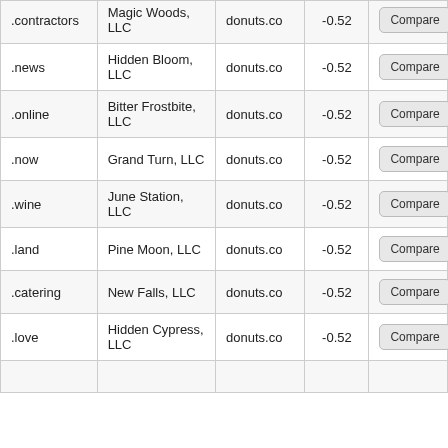| TLD | Registrant | Registry | Score | Action |
| --- | --- | --- | --- | --- |
| .contractors | Magic Woods, LLC | donuts.co | -0.52 | Compare |
| .news | Hidden Bloom, LLC | donuts.co | -0.52 | Compare |
| .online | Bitter Frostbite, LLC | donuts.co | -0.52 | Compare |
| .now | Grand Turn, LLC | donuts.co | -0.52 | Compare |
| .wine | June Station, LLC | donuts.co | -0.52 | Compare |
| .land | Pine Moon, LLC | donuts.co | -0.52 | Compare |
| .catering | New Falls, LLC | donuts.co | -0.52 | Compare |
| .love | Hidden Cypress, LLC | donuts.co | -0.52 | Compare |